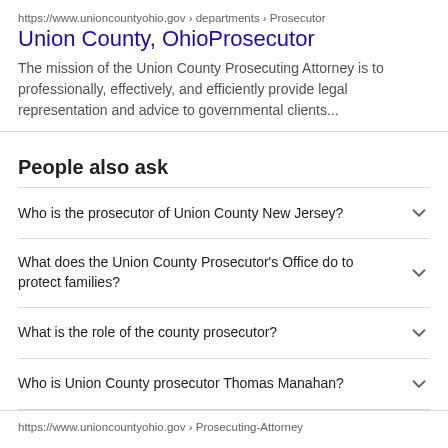https://www.unioncountyohio.gov › departments › Prosecutor
Union County, OhioProsecutor
The mission of the Union County Prosecuting Attorney is to professionally, effectively, and efficiently provide legal representation and advice to governmental clients...
People also ask
Who is the prosecutor of Union County New Jersey?
What does the Union County Prosecutor's Office do to protect families?
What is the role of the county prosecutor?
Who is Union County prosecutor Thomas Manahan?
https://www.unioncountyohio.gov › Prosecuting-Attorney